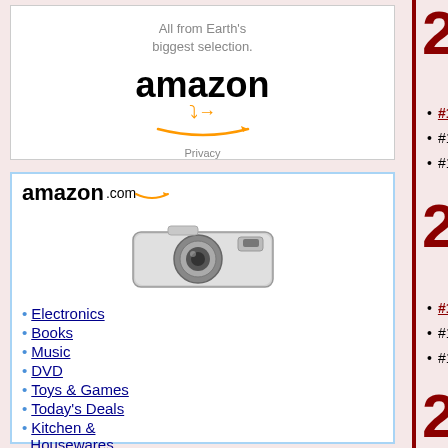[Figure (logo): Amazon advertisement with tagline 'All from Earth's biggest selection.' and amazon logo with orange arrow smile]
[Figure (illustration): Amazon.com advertisement with logo, compact camera image, and navigation links: Electronics, Books, Music, DVD, Toys & Games, Today's Deals, Kitchen & Housewares]
2012
#1 on The ARC Weekly Top 40: '...
#1 on Billboard Singles: "Locke...
#1 on Billboard LPs: Red by Tay...
2011
#1 on The ARC Weekly Top 40: '...
#1 on Billboard Singles: "We Fo...
#1 on Billboard LPs: Christmas...
2010
#1 on The ARC Weekly Top 40: '...
#1 on Billboard SinglesPerry: "P...
#1 on Billboard LPs: The Gift by...